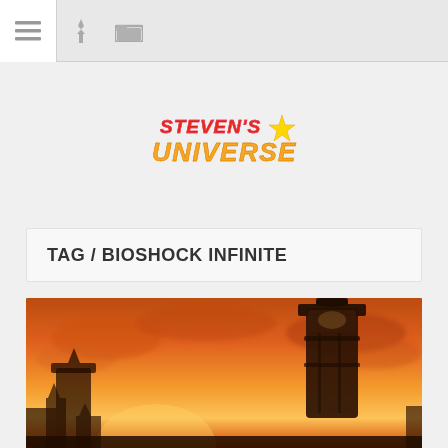Navigation bar with menu, pin, and folder icons
[Figure (logo): Steven Universe colorful stylized logo with pink/red/yellow/orange text and star]
TAG / BIOSHOCK INFINITE
[Figure (photo): BioShock Infinite game screenshot showing a lighthouse silhouette against a dramatic orange/red sunset sky with city silhouettes in the background]